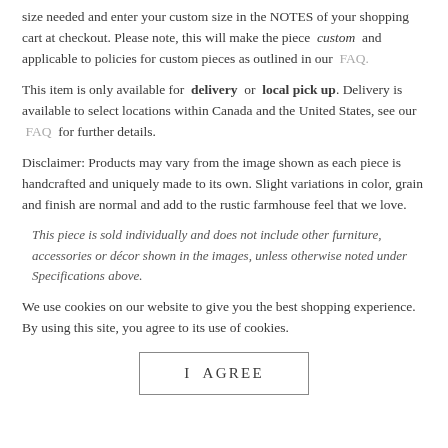size needed and enter your custom size in the NOTES of your shopping cart at checkout. Please note, this will make the piece custom and applicable to policies for custom pieces as outlined in our FAQ.
This item is only available for delivery or local pick up. Delivery is available to select locations within Canada and the United States, see our FAQ for further details.
Disclaimer: Products may vary from the image shown as each piece is handcrafted and uniquely made to its own. Slight variations in color, grain and finish are normal and add to the rustic farmhouse feel that we love.
This piece is sold individually and does not include other furniture, accessories or décor shown in the images, unless otherwise noted under Specifications above.
We use cookies on our website to give you the best shopping experience. By using this site, you agree to its use of cookies.
I AGREE